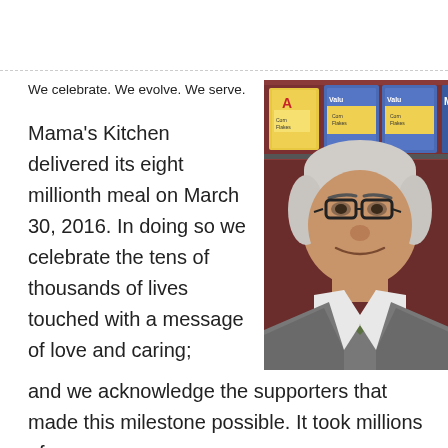We celebrate. We evolve. We serve.
Mama's Kitchen delivered its eight millionth meal on March 30, 2016. In doing so we celebrate the tens of thousands of lives touched with a message of love and caring; and we acknowledge the supporters that made this milestone possible. It took millions of
[Figure (photo): Portrait of a smiling middle-aged man with glasses and short grey hair, wearing a grey blazer over a green sweater with white collared shirt, standing in front of shelves stocked with cereal boxes (Corn Flakes and Value brand cereals).]